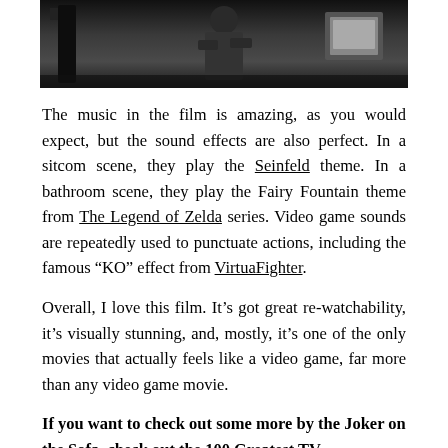[Figure (photo): Dark photograph of a person or film set with equipment, shot from above or at an angle, dark tones]
The music in the film is amazing, as you would expect, but the sound effects are also perfect. In a sitcom scene, they play the Seinfeld theme. In a bathroom scene, they play the Fairy Fountain theme from The Legend of Zelda series. Video game sounds are repeatedly used to punctuate actions, including the famous “KO” effect from VirtuaFighter.
Overall, I love this film. It’s got great re-watchability, it’s visually stunning, and, mostly, it’s one of the only movies that actually feels like a video game, far more than any video game movie.
If you want to check out some more by the Joker on the Sofa, check out the 100 Greatest TV